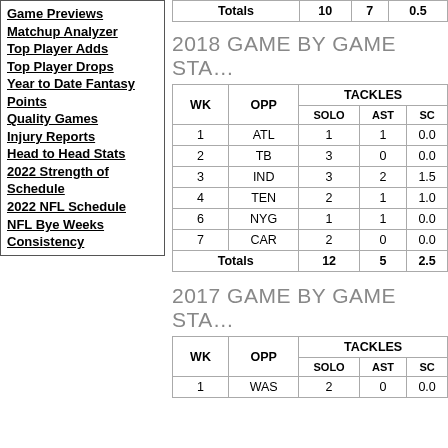Game Previews
Matchup Analyzer
Top Player Adds
Top Player Drops
Year to Date Fantasy Points
Quality Games
Injury Reports
Head to Head Stats
2022 Strength of Schedule
2022 NFL Schedule
NFL Bye Weeks
Consistency
2018 GAME BY GAME STA...
| WK | OPP | TACKLES SOLO | TACKLES AST | TACKLES SC |
| --- | --- | --- | --- | --- |
| 1 | ATL | 1 | 1 | 0.0 |
| 2 | TB | 3 | 0 | 0.0 |
| 3 | IND | 3 | 2 | 1.5 |
| 4 | TEN | 2 | 1 | 1.0 |
| 6 | NYG | 1 | 1 | 0.0 |
| 7 | CAR | 2 | 0 | 0.0 |
| Totals |  | 12 | 5 | 2.5 |
2017 GAME BY GAME STA...
| WK | OPP | TACKLES SOLO | TACKLES AST | TACKLES SC |
| --- | --- | --- | --- | --- |
| 1 | WAS | 2 | 0 | 0.0 |